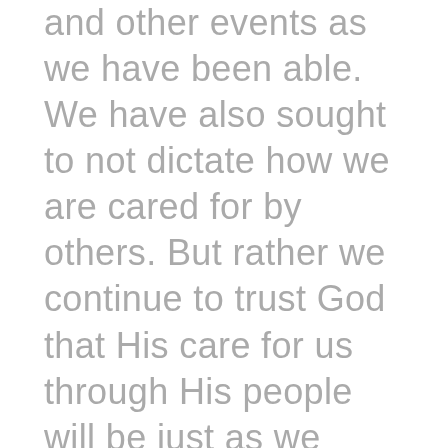and other events as we have been able. We have also sought to not dictate how we are cared for by others. But rather we continue to trust God that His care for us through His people will be just as we need. We know His care for us through His people is also an expression of His sovereign goodness. He has not disappointed. Again, the care we have received from our pastors and church body has been an incredible means of grace in our